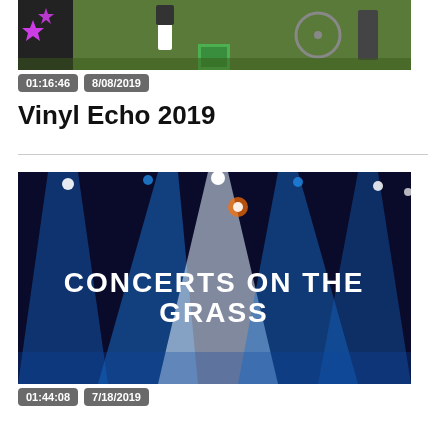[Figure (photo): Outdoor concert scene showing performers on stage with colorful backdrop and bicycle visible, daytime]
01:16:46  8/08/2019
Vinyl Echo 2019
[Figure (photo): Concert stage with dramatic blue and white spotlights, text overlay reading CONCERTS ON THE GRASS in stylized white font]
01:44:08  7/18/2019